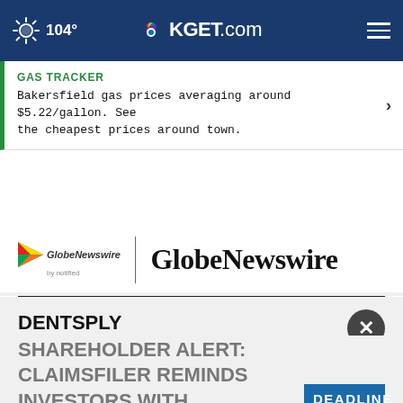104° KGET.com
GAS TRACKER
Bakersfield gas prices averaging around $5.22/gallon. See the cheapest prices around town.
[Figure (logo): GlobeNewswire by notified logo with colorful play-button icon and GlobeNewswire text]
DENTSPLY
SHAREHOLDER ALERT: CLAIMSFILER REMINDS INVESTORS WITH
DEADLINE